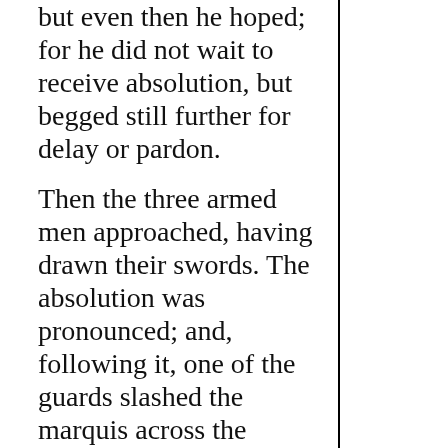but even then he hoped; for he did not wait to receive absolution, but begged still further for delay or pardon.

Then the three armed men approached, having drawn their swords. The absolution was pronounced; and, following it, one of the guards slashed the marquis across the forehead. He stumbled and fell forward, making signs as if to ask that he might have his throat cut. But his throat was partly protected by a coat of mail, so that three or four strokes delivered there had slight effect. Finally, however, a long, narrow sword was thrust into his side, after which the